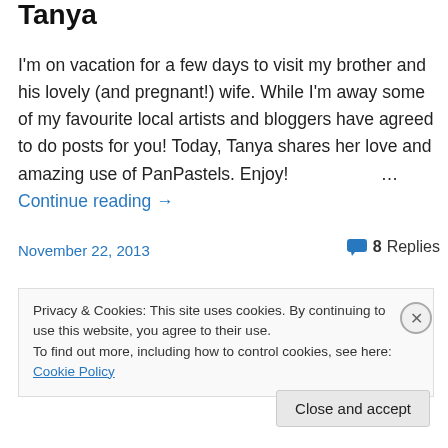Tanya
I'm on vacation for a few days to visit my brother and his lovely (and pregnant!) wife. While I'm away some of my favourite local artists and bloggers have agreed to do posts for you! Today, Tanya shares her love and amazing use of PanPastels. Enjoy! … Continue reading →
November 22, 2013
8 Replies
Privacy & Cookies: This site uses cookies. By continuing to use this website, you agree to their use.
To find out more, including how to control cookies, see here: Cookie Policy
Close and accept